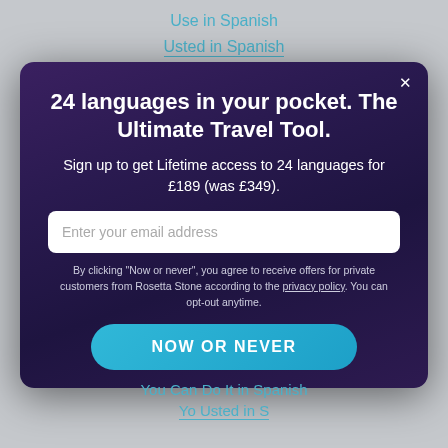Use in Spanish
Usted in Spanish
24 languages in your pocket. The Ultimate Travel Tool.
Sign up to get Lifetime access to 24 languages for £189 (was £349).
Enter your email address
By clicking "Now or never", you agree to receive offers for private customers from Rosetta Stone according to the privacy policy. You can opt-out anytime.
NOW OR NEVER
You Can Do It in Spanish
Yo Usted in Spanish